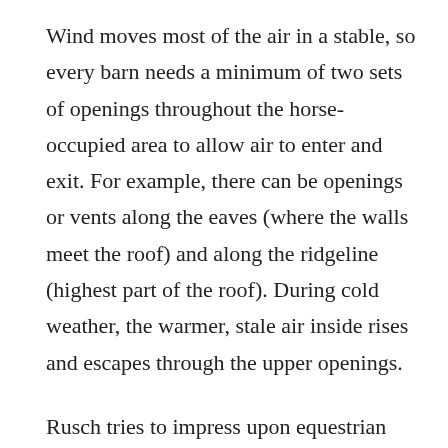Wind moves most of the air in a stable, so every barn needs a minimum of two sets of openings throughout the horse-occupied area to allow air to enter and exit. For example, there can be openings or vents along the eaves (where the walls meet the roof) and along the ridgeline (highest part of the roof). During cold weather, the warmer, stale air inside rises and escapes through the upper openings.
Rusch tries to impress upon equestrian customers the need to ventilate for their horse’s comfort, not their own. “We recommend Dutch doors or windows on the outside wall,” he says. “Fans in the cupola on